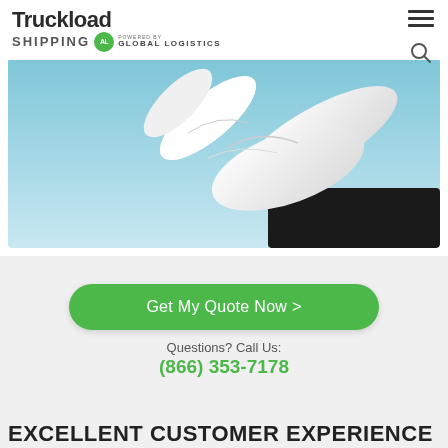Truckload SHIPPING powered by AL GLOBAL LOGISTICS
[Figure (photo): Close-up photo of a white gloved hand against a blue background, suggesting premium service]
Get My Quote Now >
Questions? Call Us:
(866) 353-7178
EXCELLENT CUSTOMER EXPERIENCE